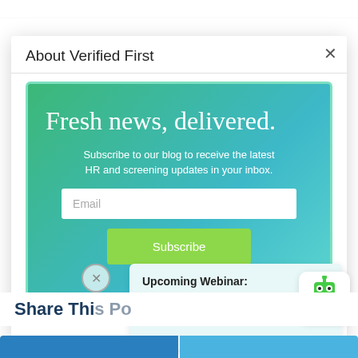About Verified First
Fresh news, delivered.
Subscribe to our blog to receive the latest HR and screening updates in your inbox.
Email
Subscribe
Upcoming Webinar: Recruit, Reskill, & Retain Today's Workforce
Share This Post